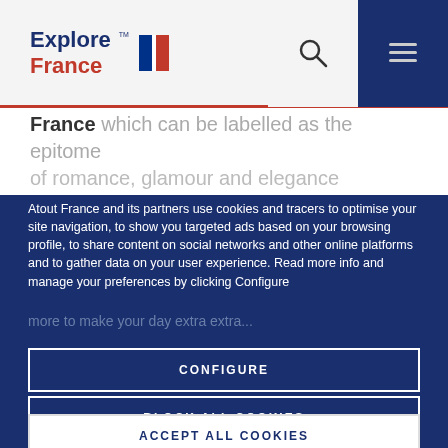[Figure (logo): Explore France logo with French flag, search icon, and hamburger menu on navy background]
France which can be labelled as the epitome of romance, glamour and elegance
Atout France and its partners use cookies and tracers to optimise your site navigation, to show you targeted ads based on your browsing profile, to share content on social networks and other online platforms and to gather data on your user experience. Read more info and manage your preferences by clicking Configure
CONFIGURE
BLOCK ALL COOKIES
ACCEPT ALL COOKIES